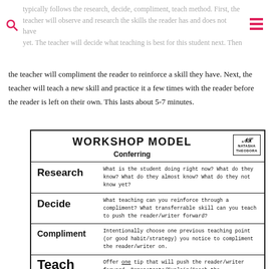typically follows the research, decide, compliment, teach method. First, the teacher will observe and research the skills the reader has and does not have yet. The teacher will decide what teaching is best for this student next. Then the teacher will compliment the reader to reinforce a skill they have. Next, the teacher will teach a new skill and practice it a few times with the reader before the reader is left on their own. This lasts about 5-7 minutes.
[Figure (infographic): Workshop Model Conferring diagram showing four rows: Research, Decide, Compliment, Teach, each with guiding questions. Branded with Natasha Theodora logo.]